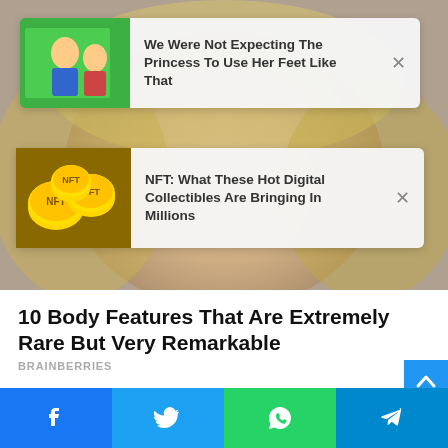[Figure (screenshot): Background photo of a blonde woman's face]
[Figure (screenshot): Ad card 1: thumbnail of animated characters on green screen background with text 'We Were Not Expecting The Princess To Use Her Feet Like That']
We Were Not Expecting The Princess To Use Her Feet Like That
[Figure (screenshot): Ad card 2: thumbnail of gold NFT coins with text 'NFT: What These Hot Digital Collectibles Are Bringing In Millions']
NFT: What These Hot Digital Collectibles Are Bringing In Millions
10 Body Features That Are Extremely Rare But Very Remarkable
BRAINBERRIES
[Figure (photo): Photo of group of people outdoors near shipping containers]
[Figure (screenshot): Social share bar with Facebook, Twitter, WhatsApp, and Telegram buttons]